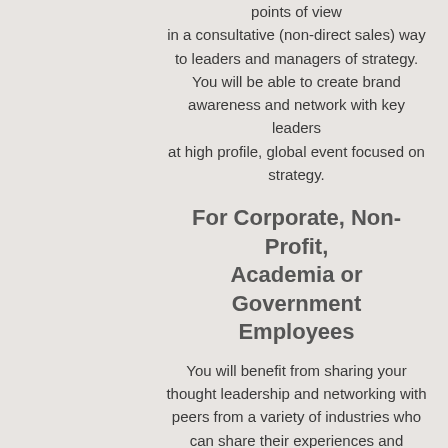points of view in a consultative (non-direct sales) way to leaders and managers of strategy. You will be able to create brand awareness and network with key leaders at high profile, global event focused on strategy.
For Corporate, Non-Profit, Academia or Government Employees
You will benefit from sharing your thought leadership and networking with peers from a variety of industries who can share their experiences and lessons learned while having your conference registration fee waived.